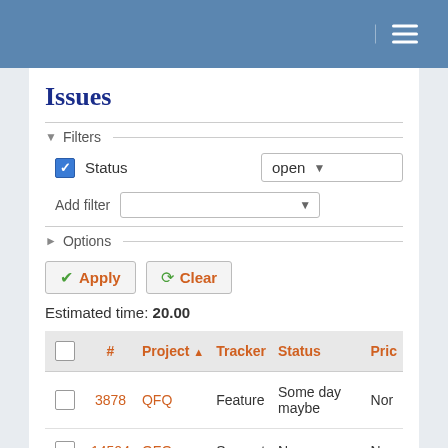Issues
Filters
Status  open
Add filter
Options
Apply  Clear
Estimated time: 20.00
|  | # | Project ↑ | Tracker | Status | Pric |
| --- | --- | --- | --- | --- | --- |
|  | 3878 | QFQ | Feature | Some day maybe | Nor |
|  | 14504 | QFQ | Support | New | Nor |